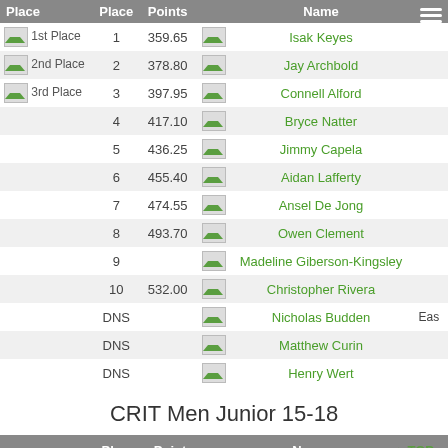|  | Place | Points |  | Name |  |
| --- | --- | --- | --- | --- | --- |
| 1st Place | 1 | 359.65 | [img] | Isak Keyes |  |
| 2nd Place | 2 | 378.80 | [img] | Jay Archbold |  |
| 3rd Place | 3 | 397.95 | [img] | Connell Alford |  |
|  | 4 | 417.10 | [img] | Bryce Natter |  |
|  | 5 | 436.25 | [img] | Jimmy Capela |  |
|  | 6 | 455.40 | [img] | Aidan Lafferty |  |
|  | 7 | 474.55 | [img] | Ansel De Jong |  |
|  | 8 | 493.70 | [img] | Owen Clement |  |
|  | 9 |  | [img] | Madeline Giberson-Kingsley |  |
|  | 10 | 532.00 | [img] | Christopher Rivera |  |
|  | DNS |  | [img] | Nicholas Budden | Eas |
|  | DNS |  | [img] | Matthew Curin |  |
|  | DNS |  | [img] | Henry Wert |  |
CRIT Men Junior 15-18
| Place | Points |  | Name |  |
| --- | --- | --- | --- | --- |
| 1 | 378.85 | [img] | Hayden Fox |  |